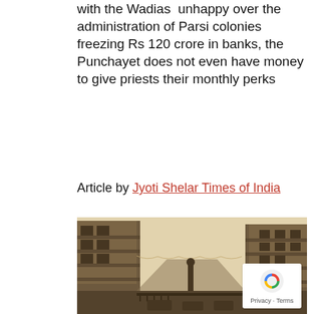with the Wadias  unhappy over the administration of Parsi colonies  freezing Rs 120 crore in banks, the Punchayet does not even have money to give priests their monthly perks
Article by Jyoti Shelar Times of India
[Figure (photo): Vintage sepia-toned photograph of a colonial-era street in India, flanked by multi-storey buildings with awnings on both sides, with string lights hanging across the street and old vehicles visible at the bottom.]